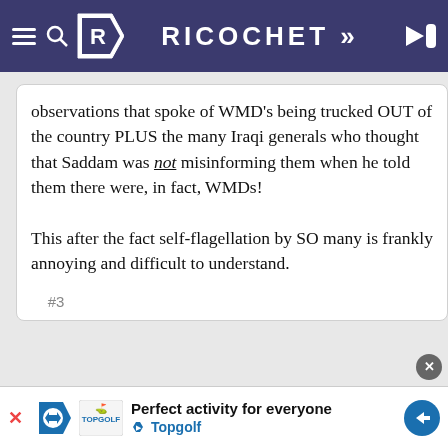RICOCHET
observations that spoke of WMD's being trucked OUT of the country PLUS the many Iraqi generals who thought that Saddam was not misinforming them when he told them there were, in fact, WMDs!

This after the fact self-flagellation by SO many is frankly annoying and difficult to understand.
#3
Leslie Watkins @LeslieWatkins — CHARTER MEMBER — 11:15 AM PDT · May 26, 2022
Dr. Guido (View Comment):